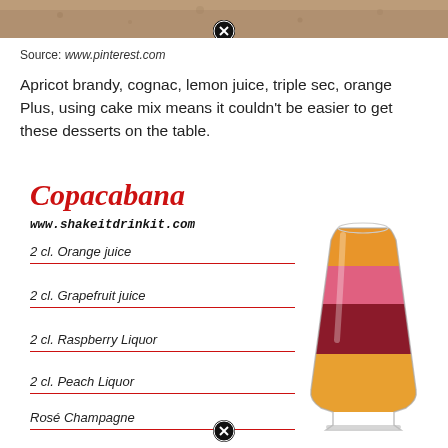[Figure (photo): Top portion of a photo showing a marble/granite surface, partially cut off. Close button overlay at top center.]
Source: www.pinterest.com
Apricot brandy, cognac, lemon juice, triple sec, orange Plus, using cake mix means it couldn't be easier to get these desserts on the table.
Copacabana
www.shakeitdrinkit.com
2 cl. Orange juice
2 cl. Grapefruit juice
2 cl. Raspberry Liquor
2 cl. Peach Liquor
Rosé Champagne
[Figure (illustration): Layered cocktail in a champagne flute showing distinct colored layers: orange juice (top, amber/orange), grapefruit juice (pink/salmon), raspberry liquor (dark red), peach liquor (golden orange at bottom). Red lines connect ingredient labels to the corresponding layers.]